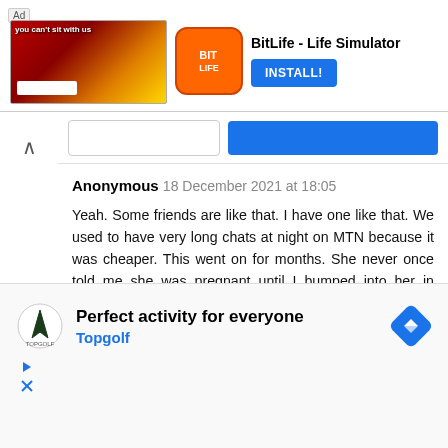[Figure (screenshot): Ad banner: BitLife - Life Simulator app advertisement with INSTALL! button]
Anonymous 18 December 2021 at 18:05
Yeah. Some friends are like that. I have one like that. We used to have very long chats at night on MTN because it was cheaper. This went on for months. She never once told me she was pregnant until I bumped into her in church and saw her bulge. I have never been malicious to her and I wondered why she would keep such good new from me. To say I was shocked is an understatement. I let it slide, congratulated her and all. Then it happened again the second time. This time I went to her house and saw she was preg. Mehn, I faced my front since then. She must not
[Figure (screenshot): Bottom ad: Perfect activity for everyone - Topgolf advertisement]